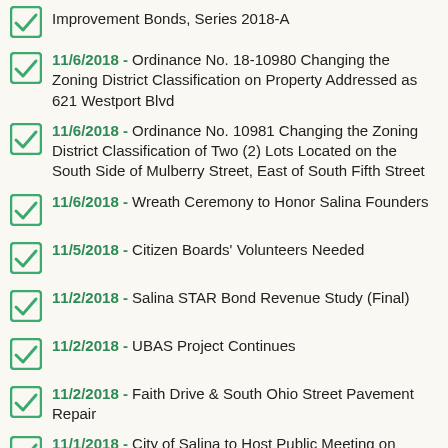Improvement Bonds, Series 2018-A
11/6/2018 - Ordinance No. 18-10980 Changing the Zoning District Classification on Property Addressed as 621 Westport Blvd
11/6/2018 - Ordinance No. 10981 Changing the Zoning District Classification of Two (2) Lots Located on the South Side of Mulberry Street, East of South Fifth Street
11/6/2018 - Wreath Ceremony to Honor Salina Founders
11/5/2018 - Citizen Boards' Volunteers Needed
11/2/2018 - Salina STAR Bond Revenue Study (Final)
11/2/2018 - UBAS Project Continues
11/2/2018 - Faith Drive & South Ohio Street Pavement Repair
11/1/2018 - City of Salina to Host Public Meeting on Smoky Hill River Renewal Project
10/31/2018 - Santa Fe Avenue Streetscape & Waterline